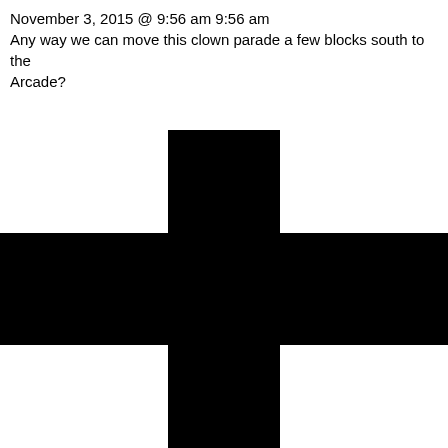November 3, 2015 @ 9:56 am 9:56 am
Any way we can move this clown parade a few blocks south to the Arcade?
[Figure (illustration): A large black plus/cross symbol with rounded ends on all four arms, centered in the lower portion of the image.]